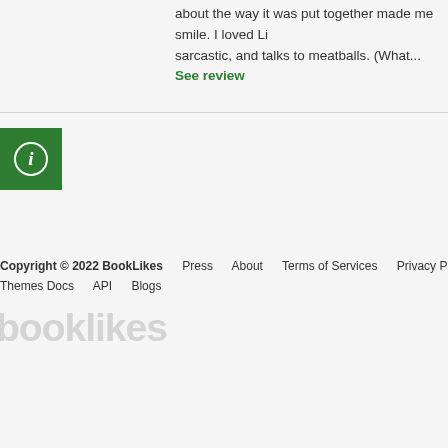about the way it was put together made me smile. I loved Li sarcastic, and talks to meatballs. (What...
See review
[Figure (infographic): Green square icon with white outlined circle containing an italic letter i (information icon)]
Copyright © 2022 BookLikes   Press   About   Terms of Services   Privacy Policy   Themes Docs   API   Blogs
[Figure (logo): BookLikes watermark text in light gray]